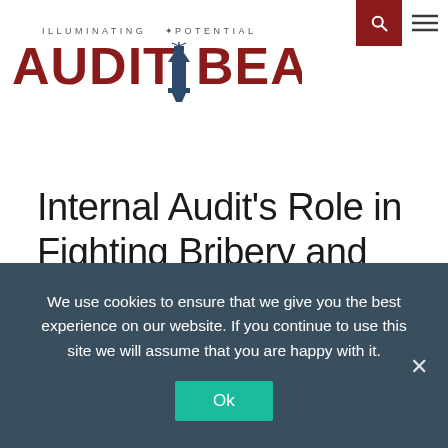[Figure (logo): Audit Beacon logo with lighthouse icon and tagline 'ILLUMINATING POTENTIAL']
Internal Audit's Role in Fighting Bribery and Corruption
April 28, 2018
We use cookies to ensure that we give you the best experience on our website. If you continue to use this site we will assume that you are happy with it.